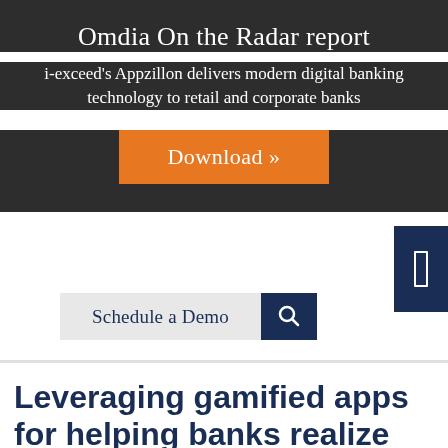Omdia On the Radar report
i-exceed's Appzillon delivers modern digital banking technology to retail and corporate banks
[Figure (other): Orange Download button with double chevron arrows >>]
[Figure (other): Dark navy blue navigation icon with white rectangle outline on right side of white section]
[Figure (other): Schedule a Demo button in light grey with dark navy search/filter icon button]
Leveraging gamified apps for helping banks realize digital success